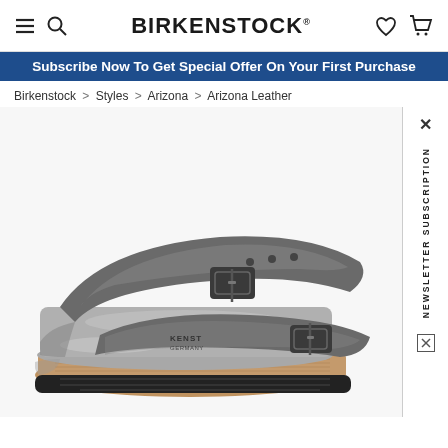BIRKENSTOCK
Subscribe Now To Get Special Offer On Your First Purchase
Birkenstock > Styles > Arizona > Arizona Leather
[Figure (photo): Birkenstock Arizona leather sandal in metallic dark grey/pewter colorway, two-strap with buckles, cork footbed, shown in side profile view.]
NEWSLETTER SUBSCRIPTION